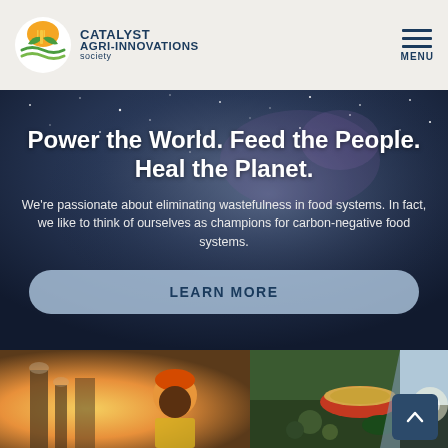CATALYST AGRI-INNOVATIONS society — MENU
Power the World. Feed the People. Heal the Planet.
We're passionate about eliminating wastefulness in food systems. In fact, we like to think of ourselves as champions for carbon-negative food systems.
LEARN MORE
[Figure (photo): Bottom strip showing three images: a worker in orange hard hat at industrial facility, a bowl of grain surrounded by vegetables and food, and a scenic landscape with sunlight.]